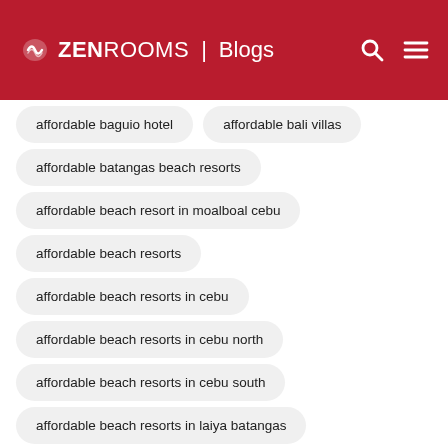ZEN ROOMS | Blogs
affordable baguio hotel
affordable bali villas
affordable batangas beach resorts
affordable beach resort in moalboal cebu
affordable beach resorts
affordable beach resorts in cebu
affordable beach resorts in cebu north
affordable beach resorts in cebu south
affordable beach resorts in laiya batangas
affordable beach resorts in matabungkay